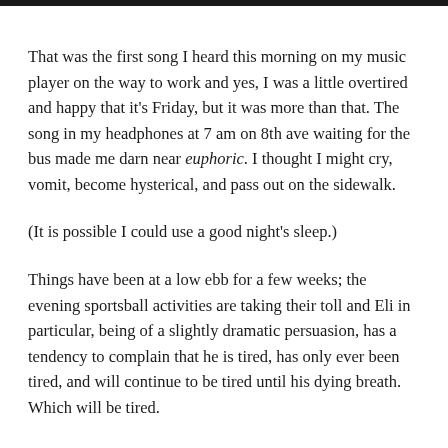That was the first song I heard this morning on my music player on the way to work and yes, I was a little overtired and happy that it's Friday, but it was more than that. The song in my headphones at 7 am on 8th ave waiting for the bus made me darn near euphoric. I thought I might cry, vomit, become hysterical, and pass out on the sidewalk.
(It is possible I could use a good night's sleep.)
Things have been at a low ebb for a few weeks; the evening sportsball activities are taking their toll and Eli in particular, being of a slightly dramatic persuasion, has a tendency to complain that he is tired, has only ever been tired, and will continue to be tired until his dying breath. Which will be tired.
Wednesdays are our busiest evenings; baseball starts at 5:45-